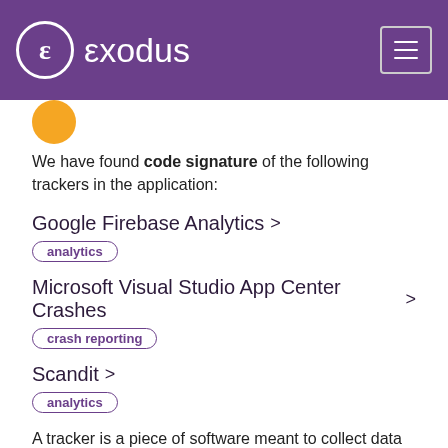exodus
We have found code signature of the following trackers in the application:
Google Firebase Analytics
analytics
Microsoft Visual Studio App Center Crashes
crash reporting
Scandit
analytics
A tracker is a piece of software meant to collect data about you or your usages. Learn more...